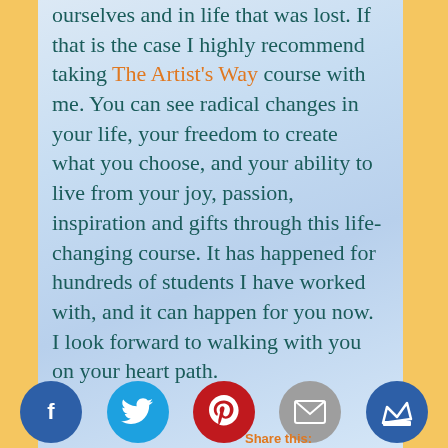ourselves and in life that was lost. If that is the case I highly recommend taking The Artist's Way course with me. You can see radical changes in your life, your freedom to create what you choose, and your ability to live from your joy, passion, inspiration and gifts through this life-changing course. It has happened for hundreds of students I have worked with, and it can happen for you now. I look forward to walking with you on your heart path.
[Figure (infographic): Social sharing bar with Facebook, Twitter, Pinterest, Email, and Crown icons at the bottom of the page. 'Share this:' label in orange.]